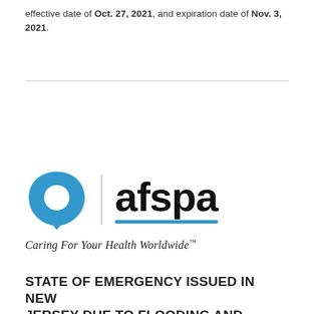effective date of Oct. 27, 2021, and expiration date of Nov. 3, 2021.
[Figure (logo): AFSPA logo: blue teardrop/speech-bubble icon with white circle, vertical divider, bold 'afspa' wordmark with blue underline, and italic tagline 'Caring For Your Health Worldwide™']
STATE OF EMERGENCY ISSUED IN NEW JERSEY DUE TO FLOODING AND SEVERE